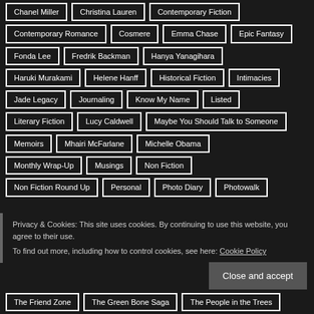Chanel Miller
Christina Lauren
Contemporary Fiction
Contemporary Romance
Cosmere
Emma Chase
Epic Fantasy
Fonda Lee
Fredrik Backman
Hanya Yanagihara
Haruki Murakami
Helene Hanff
Historical Fiction
Intimacies
Jade Legacy
Journaling
Know My Name
Listed
Literary Fiction
Lucy Caldwell
Maybe You Should Talk to Someone
Memoirs
Mhairi McFarlane
Michelle Obama
Monthly Wrap-Up
Musings
Non Fiction
Non Fiction Round Up
Personal
Photo Diary
Photowalk
Privacy & Cookies: This site uses cookies. By continuing to use this website, you agree to their use.
To find out more, including how to control cookies, see here: Cookie Policy
Close and accept
The Friend Zone
The Green Bone Saga
The People in the Trees